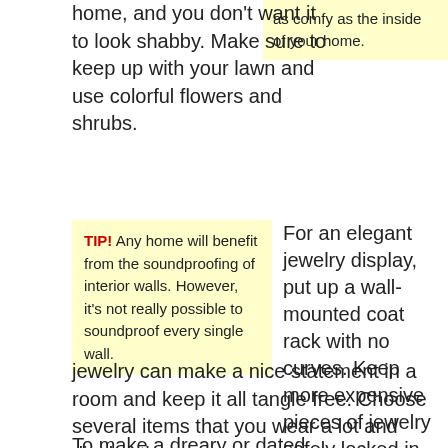home, and you don't want it to look shabby. Make sure to keep up with your lawn and use colorful flowers and shrubs.
as comfy as the inside of your home.
TIP! Any home will benefit from the soundproofing of interior walls. However, it's not really possible to soundproof every single wall.
For an elegant jewelry display, put up a wall-mounted coat rack with no curves. Keep more expensive pieces of jewelry safely locked in a jewelry box, while displaying costume jewelry. Displaying your jewelry can make a nice statement in a room and keep it all tangle free. Choose several items that you wear a lot and display those.
To make a dreary or dated